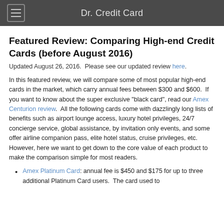Dr. Credit Card
Featured Review: Comparing High-end Credit Cards (before August 2016)
Updated August 26, 2016.  Please see our updated review here.
In this featured review, we will compare some of most popular high-end cards in the market, which carry annual fees between $300 and $600.  If you want to know about the super exclusive "black card", read our Amex Centurion review.  All the following cards come with dazzlingly long lists of benefits such as airport lounge access, luxury hotel privileges, 24/7 concierge service, global assistance, by invitation only events, and some offer airline companion pass, elite hotel status, cruise privileges, etc.  However, here we want to get down to the core value of each product to make the comparison simple for most readers.
Amex Platinum Card: annual fee is $450 and $175 for up to three additional Platinum Card users.  The card used to